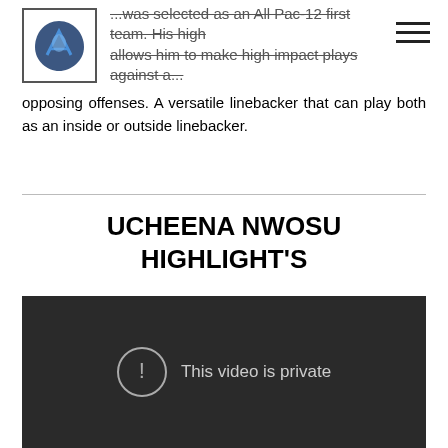...was selected as an All Pac-12 first team. His high... allows him to make high impact plays against a...
opposing offenses. A versatile linebacker that can play both as an inside or outside linebacker.
UCHEENA NWOSU HIGHLIGHT'S
[Figure (screenshot): Embedded video player showing 'This video is private' message on a dark background]